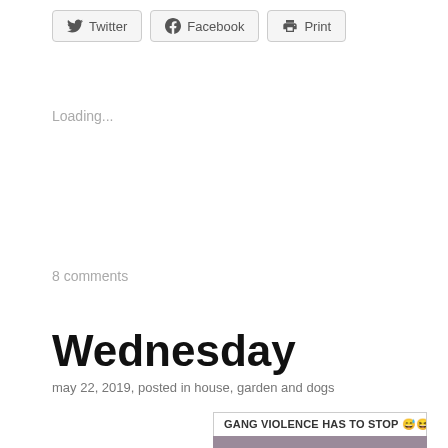[Figure (other): Share buttons: Twitter, Facebook, Print]
Loading...
8 comments
Wednesday
may 22, 2019, posted in house, garden and dogs
[Figure (photo): Meme image with caption 'GANG VIOLENCE HAS TO STOP 😅😆' showing a white and black dog being held up by someone wearing pink, near a wine rack in a kitchen.]